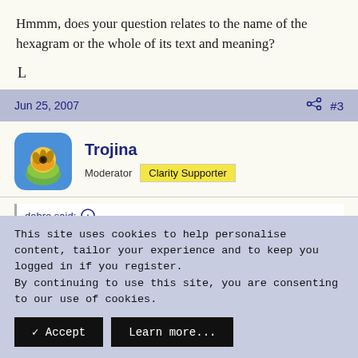Hmmm, does your question relates to the name of the hexagram or the whole of its text and meaning?
L
Jun 25, 2007  #3
Trojina
Moderator  Clarity Supporter
dobro said:
This site uses cookies to help personalise content, tailor your experience and to keep you logged in if you register.
By continuing to use this site, you are consenting to our use of cookies.